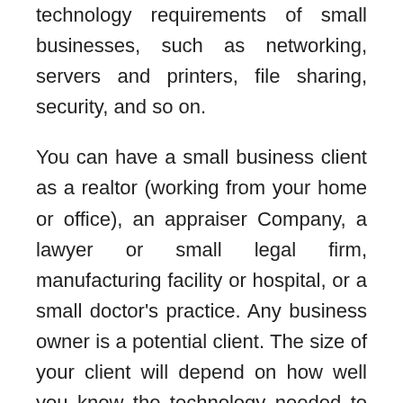technology requirements of small businesses, such as networking, servers and printers, file sharing, security, and so on.
You can have a small business client as a realtor (working from your home or office), an appraiser Company, a lawyer or small legal firm, manufacturing facility or hospital, or a small doctor's practice. Any business owner is a potential client. The size of your client will depend on how well you know the technology needed to run the business. Small businesses may not need a server. A few laptops, a printer and a DSL connection are all that they require. Others work remotely and have multiple printers